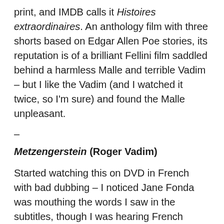print, and IMDB calls it Histoires extraordinaires. An anthology film with three shorts based on Edgar Allen Poe stories, its reputation is of a brilliant Fellini film saddled behind a harmless Malle and terrible Vadim – but I like the Vadim (and I watched it twice, so I'm sure) and found the Malle unpleasant.
–
Metzengerstein (Roger Vadim)
Started watching this on DVD in French with bad dubbing – I noticed Jane Fonda was mouthing the words I saw in the subtitles, though I was hearing French voices. So after this segment, I started over with the British blu-ray, which has a great picture-quality advantage even if some of the voices are still dubbed. IMDB claims Vincent Price is narrating, but it sounds more like Rod Serling.